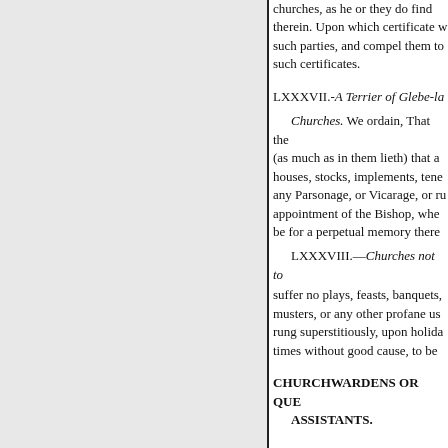churches, as he or they do find therein. Upon which certificate w such parties, and compel them to such certificates.
LXXXVII.-A Terrier of Glebe-la
Churches. We ordain, That the (as much as in them lieth) that a houses, stocks, implements, tene any Parsonage, or Vicarage, or ru appointment of the Bishop, whe be for a perpetual memory there
LXXXVIII.—Churches not to
suffer no plays, feasts, banquets, musters, or any other profane us rung superstitiously, upon holida times without good cause, to be
CHURCHWARDENS OR QUE ASSISTANTS.
LXXXIX.— The Choice of Chu
parish, shall be chosen by the jo